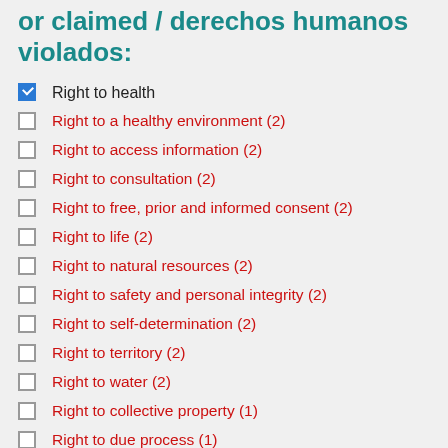or claimed / derechos humanos violados:
Right to health (checked)
Right to a healthy environment (2)
Right to access information (2)
Right to consultation (2)
Right to free, prior and informed consent (2)
Right to life (2)
Right to natural resources (2)
Right to safety and personal integrity (2)
Right to self-determination (2)
Right to territory (2)
Right to water (2)
Right to collective property (1)
Right to due process (1)
Right to private property (1)